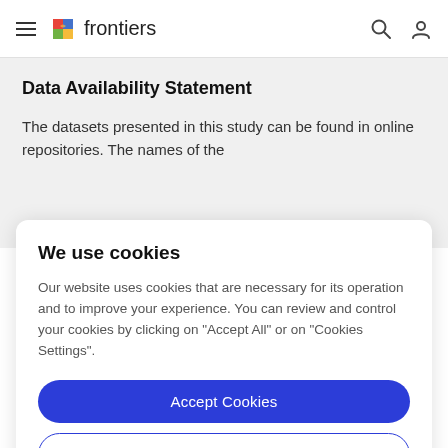frontiers
Data Availability Statement
The datasets presented in this study can be found in online repositories. The names of the
We use cookies
Our website uses cookies that are necessary for its operation and to improve your experience. You can review and control your cookies by clicking on "Accept All" or on "Cookies Settings".
Accept Cookies
Cookies Settings